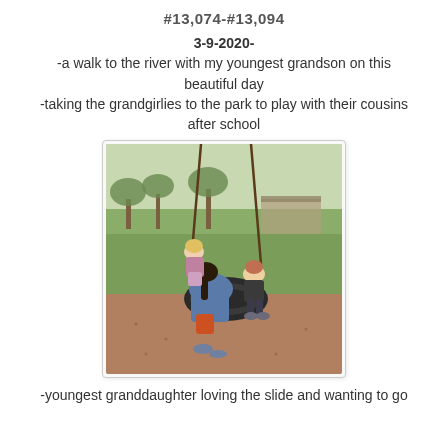#13,074-#13,094
3-9-2020-
-a walk to the river with my youngest grandson on this beautiful day
-taking the grandgirlies to the park to play with their cousins after school
[Figure (photo): Children and an adult on a tire swing at a park. A girl stands on the swing, a woman sits holding a toddler boy on a large circular tire swing. Background shows grass, trees, and park structures.]
-youngest granddaughter loving the slide and wanting to go